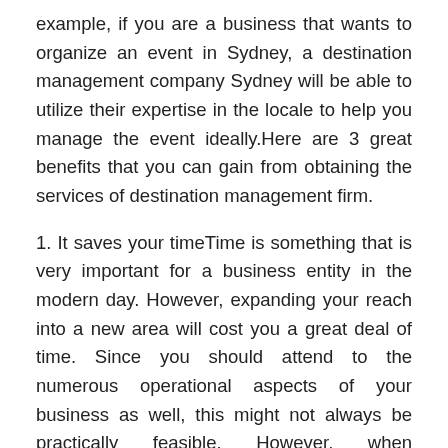example, if you are a business that wants to organize an event in Sydney, a destination management company Sydney will be able to utilize their expertise in the locale to help you manage the event ideally.Here are 3 great benefits that you can gain from obtaining the services of destination management firm.
1. It saves your timeTime is something that is very important for a business entity in the modern day. However, expanding your reach into a new area will cost you a great deal of time. Since you should attend to the numerous operational aspects of your business as well, this might not always be practically feasible. However, when professional destination management's services attend to the matter, they